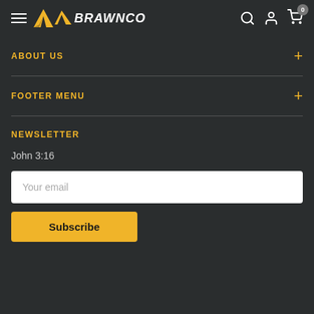BRAWNCO
ABOUT US
FOOTER MENU
NEWSLETTER
John 3:16
Your email
Subscribe